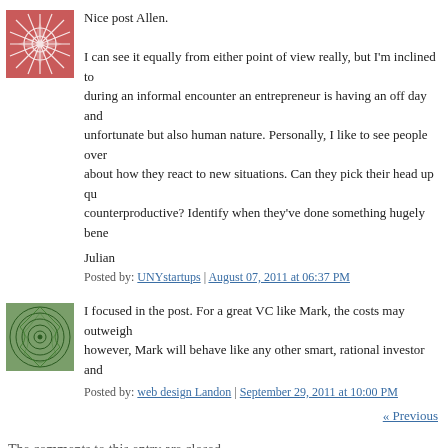[Figure (illustration): Pink/red geometric snowflake avatar image]
Nice post Allen.

I can see it equally from either point of view really, but I'm inclined to during an informal encounter an entrepreneur is having an off day and unfortunate but also human nature. Personally, I like to see people over about how they react to new situations. Can they pick their head up qu counterproductive? Identify when they've done something hugely bene
Julian
Posted by: UNYstartups | August 07, 2011 at 06:37 PM
[Figure (illustration): Green spiral/mandala avatar image]
I focused in the post. For a great VC like Mark, the costs may outweigh however, Mark will behave like any other smart, rational investor and
Posted by: web design Landon | September 29, 2011 at 10:00 PM
« Previous
The comments to this entry are closed.